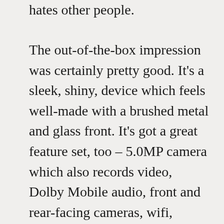hates other people.
The out-of-the-box impression was certainly pretty good. It's a sleek, shiny, device which feels well-made with a brushed metal and glass front. It's got a great feature set, too – 5.0MP camera which also records video, Dolby Mobile audio, front and rear-facing cameras, wifi, bluetooth, Java, an FM transmitter, multiformat video playback including DIVX, 3G video calling… the list really goes on. It also has quite an interesting 3D user interface where the screen rotates around a virtual cube as you swipe left and right through the menus. So it